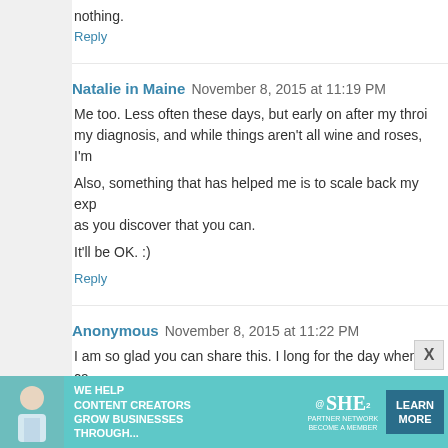nothing.
Reply
Natalie in Maine  November 8, 2015 at 11:19 PM
Me too. Less often these days, but early on after my thyro... my diagnosis, and while things aren't all wine and roses, I'm...
Also, something that has helped me is to scale back my exp... as you discover that you can.
It'll be OK. :)
Reply
Anonymous  November 8, 2015 at 11:22 PM
I am so glad you can share this. I long for the day when I ca...
Reply
Unknown  November 8, 2015 at 11:31 PM
Oh my goodness!! I desperately needed this today.
[Figure (infographic): Advertisement banner for SHE Partner Network: We help content creators grow businesses through... Learn More button]